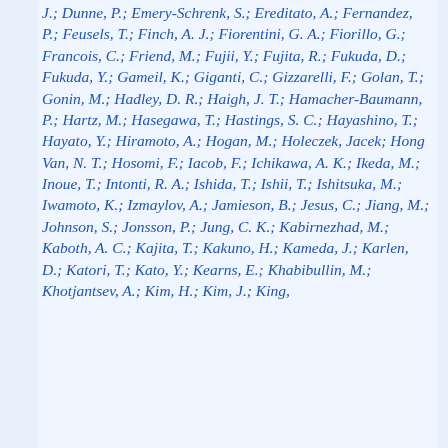J.; Dunne, P.; Emery-Schrenk, S.; Ereditato, A.; Fernandez, P.; Feusels, T.; Finch, A. J.; Fiorentini, G. A.; Fiorillo, G.; Francois, C.; Friend, M.; Fujii, Y.; Fujita, R.; Fukuda, D.; Fukuda, Y.; Gameil, K.; Giganti, C.; Gizzarelli, F.; Golan, T.; Gonin, M.; Hadley, D. R.; Haigh, J. T.; Hamacher-Baumann, P.; Hartz, M.; Hasegawa, T.; Hastings, S. C.; Hayashino, T.; Hayato, Y.; Hiramoto, A.; Hogan, M.; Holeczek, Jacek; Hong Van, N. T.; Hosomi, F.; Iacob, F.; Ichikawa, A. K.; Ikeda, M.; Inoue, T.; Intonti, R. A.; Ishida, T.; Ishii, T.; Ishitsuka, M.; Iwamoto, K.; Izmaylov, A.; Jamieson, B.; Jesus, C.; Jiang, M.; Johnson, S.; Jonsson, P.; Jung, C. K.; Kabirnezhad, M.; Kaboth, A. C.; Kajita, T.; Kakuno, H.; Kameda, J.; Karlen, D.; Katori, T.; Kato, Y.; Kearns, E.; Khabibullin, M.; Khotjantsev, A.; Kim, H.; Kim, J.; King,